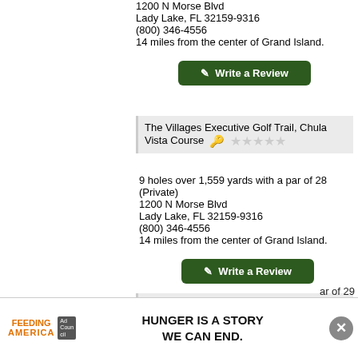1200 N Morse Blvd
Lady Lake, FL 32159-9316
(800) 346-4556
14 miles from the center of Grand Island.
✎ Write a Review
The Villages Executive Golf Trail, Chula Vista Course ⭐⭐⭐⭐⭐
9 holes over 1,559 yards with a par of 28
(Private)
1200 N Morse Blvd
Lady Lake, FL 32159-9316
(800) 346-4556
14 miles from the center of Grand Island.
✎ Write a Review
The Villages Executive Golf Trail, De La Vista Course ⭐⭐⭐⭐⭐
ar of 29
[Figure (infographic): Feeding America advertisement banner: 'HUNGER IS A STORY WE CAN END.' with Feeding America logo and Ad Council badge, close button.]